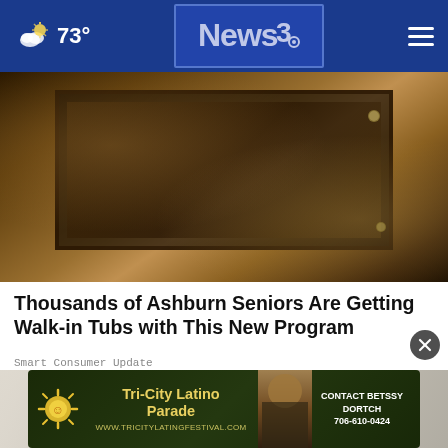73° News3 [navigation header]
[Figure (photo): Close-up photo of a rusted or dirty mechanical component, possibly a drain or bolt assembly on a wooden surface]
Thousands of Ashburn Seniors Are Getting Walk-in Tubs with This New Program
Smart Consumer Update
[Figure (photo): Close-up photo of a person's foot wearing a white perforated sneaker with tan/gold accents, white pants rolled at the bottom]
[Figure (photo): Advertisement banner: Tri-City Latino Parade. Contact Betssy Dortch 706-610-0424. www.tricitylatingfestival.com]